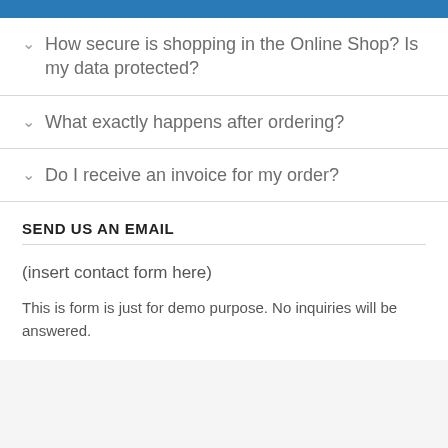How secure is shopping in the Online Shop? Is my data protected?
What exactly happens after ordering?
Do I receive an invoice for my order?
SEND US AN EMAIL
(insert contact form here)
This is form is just for demo purpose. No inquiries will be answered.